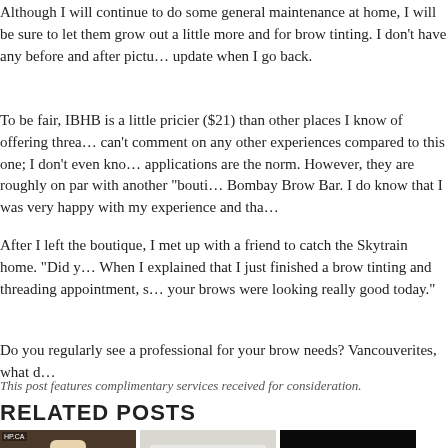Although I will continue to do some general maintenance at home, I will be sure to let them grow out a little more and for brow tinting. I don't have any before and after pictures, but I'll update when I go back.
To be fair, IBHB is a little pricier ($21) than other places I know of offering threading, but I can't comment on any other experiences compared to this one; I don't even know if multiple applications are the norm. However, they are roughly on par with another "bouti..." Bombay Brow Bar. I do know that I was very happy with my experience and tha...
After I left the boutique, I met up with a friend to catch the Skytrain home. "Did y... When I explained that I just finished a brow tinting and threading appointment, s... your brows were looking really good today."
Do you regularly see a professional for your brow needs? Vancouverites, what d...
This post features complimentary services received for consideration.
RELATED POSTS
[Figure (photo): Three beauty/skincare product bottles on dark background]
[Figure (photo): Beauty/makeup products on light background]
[Figure (photo): NIVEA Sensitive Day Care product on dark background]